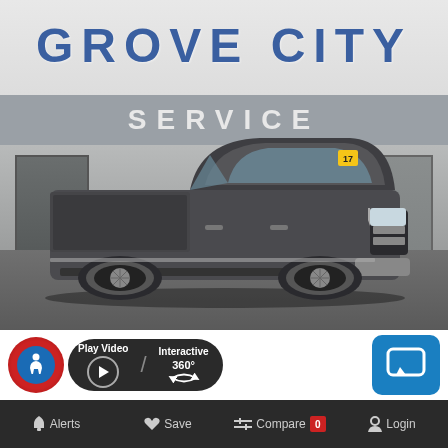[Figure (photo): A gray Ford F-150 pickup truck parked in front of a Grove City Service dealership building. The dealership sign reads 'GROVE CITY' in large blue letters above a 'SERVICE' sign on a gray horizontal band. The truck is dark gray/charcoal colored, parked on a paved surface.]
Play Video
Interactive 360°
[Figure (other): Accessibility icon button (blue circle with person figure on red background), Play Video button with play icon, Interactive 360 degree button with rotation arrows, and a blue chat button on the right]
Alerts  Save  Compare 0  Login